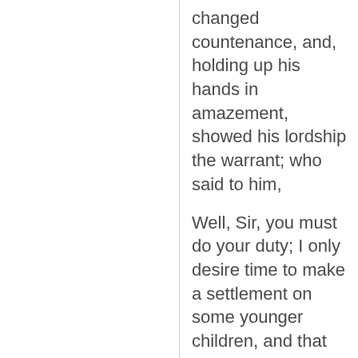changed countenance, and, holding up his hands in amazement, showed his lordship the warrant; who said to him,
Well, Sir, you must do your duty; I only desire time to make a settlement on some younger children, and that you will let my lawyer come to me for that end:
to which Balfour consented; and the